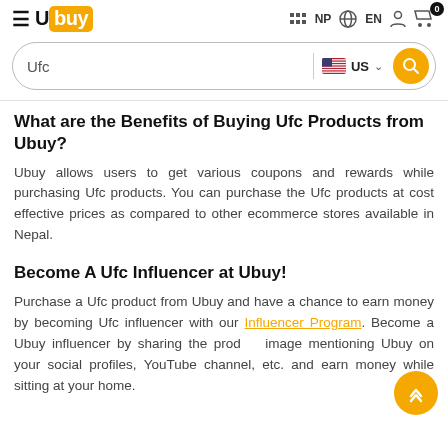Ubuy — NP EN navigation header with search bar, UFC search, US country selector
What are the Benefits of Buying Ufc Products from Ubuy?
Ubuy allows users to get various coupons and rewards while purchasing Ufc products. You can purchase the Ufc products at cost effective prices as compared to other ecommerce stores available in Nepal.
Become A Ufc Influencer at Ubuy!
Purchase a Ufc product from Ubuy and have a chance to earn money by becoming Ufc influencer with our Influencer Program. Become a Ubuy influencer by sharing the product image mentioning Ubuy on your social profiles, YouTube channel, etc. and earn money while sitting at your home.